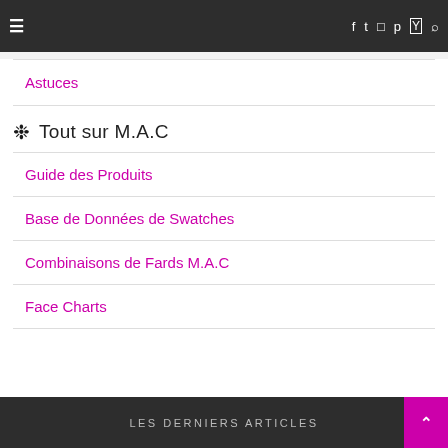≡  f  twitter  instagram  pinterest  youtube  search
Astuces
❈  Tout sur M.A.C
Guide des Produits
Base de Données de Swatches
Combinaisons de Fards M.A.C
Face Charts
LES DERNIERS ARTICLES